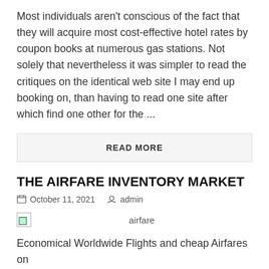Most individuals aren't conscious of the fact that they will acquire most cost-effective hotel rates by coupon books at numerous gas stations. Not solely that nevertheless it was simpler to read the critiques on the identical web site I may end up booking on, than having to read one site after which find one other for the ...
READ MORE
THE AIRFARE INVENTORY MARKET
October 11, 2021   admin
[Figure (illustration): Broken image placeholder with alt text 'airfare']
Economical Worldwide Flights and cheap Airfares on